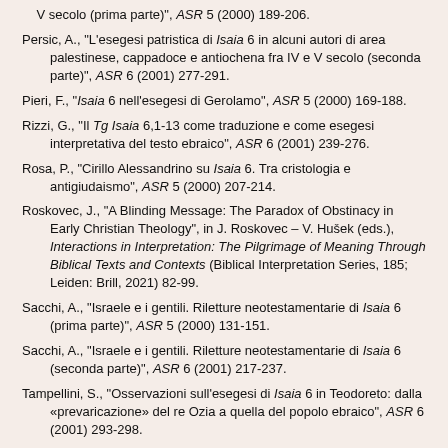V secolo (prima parte)", ASR 5 (2000) 189-206.
Persic, A., "L'esegesi patristica di Isaia 6 in alcuni autori di area palestinese, cappadoce e antiochena fra IV e V secolo (seconda parte)", ASR 6 (2001) 277-291.
Pieri, F., "Isaia 6 nell'esegesi di Gerolamo", ASR 5 (2000) 169-188.
Rizzi, G., "Il Tg Isaia 6,1-13 come traduzione e come esegesi interpretativa del testo ebraico", ASR 6 (2001) 239-276.
Rosa, P., "Cirillo Alessandrino su Isaia 6. Tra cristologia e antigiudaismo", ASR 5 (2000) 207-214.
Roskovec, J., "A Blinding Message: The Paradox of Obstinacy in Early Christian Theology", in J. Roskovec – V. Hušek (eds.), Interactions in Interpretation: The Pilgrimage of Meaning Through Biblical Texts and Contexts (Biblical Interpretation Series, 185; Leiden: Brill, 2021) 82-99.
Sacchi, A., "Israele e i gentili. Riletture neotestamentarie di Isaia 6 (prima parte)", ASR 5 (2000) 131-151.
Sacchi, A., "Israele e i gentili. Riletture neotestamentarie di Isaia 6 (seconda parte)", ASR 6 (2001) 217-237.
Tampellini, S., "Osservazioni sull'esegesi di Isaia 6 in Teodoreto: dalla «prevaricazione» del re Ozia a quella del popolo ebraico", ASR 6 (2001) 293-298.